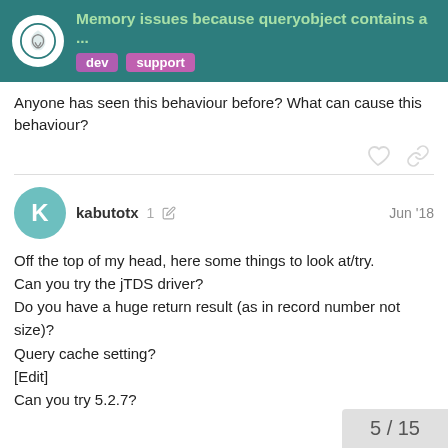Memory issues because queryobject contains a ...
Anyone has seen this behaviour before? What can cause this behaviour?
kabutotx  1  Jun '18
Off the top of my head, here some things to look at/try.
Can you try the jTDS driver?
Do you have a huge return result (as in record number not size)?
Query cache setting?
[Edit]
Can you try 5.2.7?
5 / 15